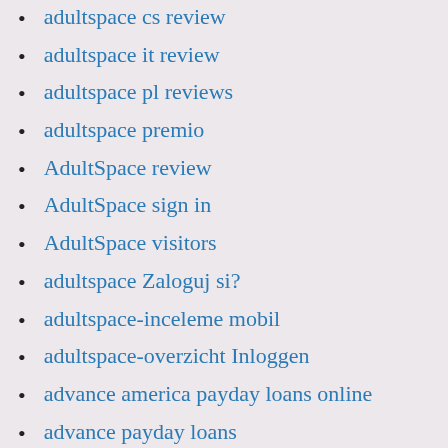adultspace cs review
adultspace it review
adultspace pl reviews
adultspace premio
AdultSpace review
AdultSpace sign in
AdultSpace visitors
adultspace Zaloguj si?
adultspace-inceleme mobil
adultspace-overzicht Inloggen
advance america payday loans online
advance payday loans
advance payday loans online
advance title loan
advance title loans
advanced payday loan
advanced payday loans